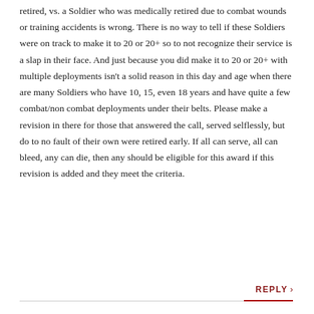retired, vs. a Soldier who was medically retired due to combat wounds or training accidents is wrong. There is no way to tell if these Soldiers were on track to make it to 20 or 20+ so to not recognize their service is a slap in their face. And just because you did make it to 20 or 20+ with multiple deployments isn't a solid reason in this day and age when there are many Soldiers who have 10, 15, even 18 years and have quite a few combat/non combat deployments under their belts. Please make a revision in there for those that answered the call, served selflessly, but do to no fault of their own were retired early. If all can serve, all can bleed, any can die, then any should be eligible for this award if this revision is added and they meet the criteria.
REPLY >